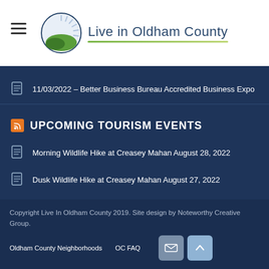[Figure (logo): Live in Oldham County logo with circular emblem (sunburst/leaf design) and text]
11/03/2022 – Better Business Bureau Accredited Business Expo
UPCOMING TOURISM EVENTS
Morning Wildlife Hike at Creasey Mahan August 28, 2022
Dusk Wildlife Hike at Creasey Mahan August 27, 2022
Showbarn Sessions at Ashbourne Farms August 27, 2022
Copyright Live In Oldham County 2019. Site design by Noteworthy Creative Group.
Oldham County Neighborhoods   OC FAQ